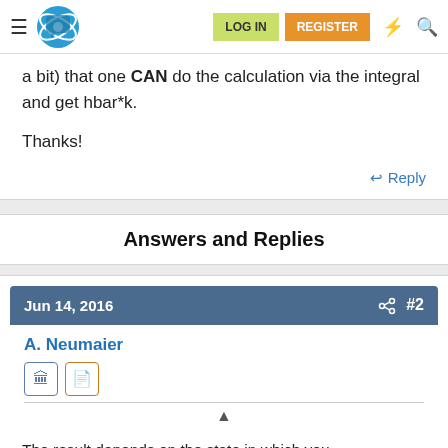Navigation bar with logo, LOG IN, REGISTER buttons
a bit) that one CAN do the calculation via the integral and get hbar*k.
Thanks!
↩ Reply
Answers and Replies
Jun 14, 2016  #2
A. Neumaier
The result depends on the state in which you